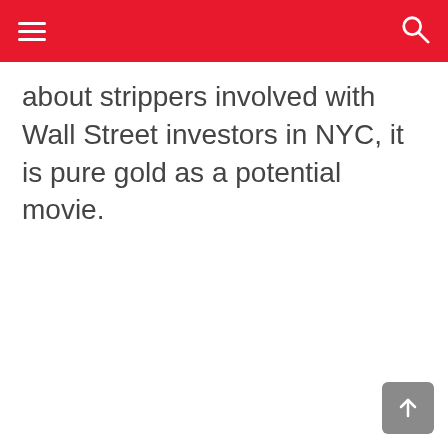about strippers involved with Wall Street investors in NYC, it is pure gold as a potential movie.